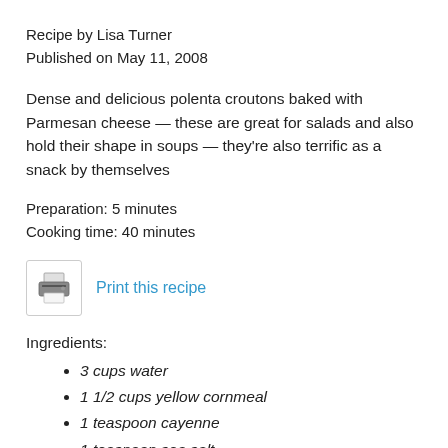Recipe by Lisa Turner
Published on May 11, 2008
Dense and delicious polenta croutons baked with Parmesan cheese — these are great for salads and also hold their shape in soups — they're also terrific as a snack by themselves
Preparation: 5 minutes
Cooking time: 40 minutes
[Figure (other): Printer icon inside a bordered box, next to a blue 'Print this recipe' link]
Ingredients:
3 cups water
1 1/2 cups yellow cornmeal
1 teaspoon cayenne
1 teaspoon sea salt